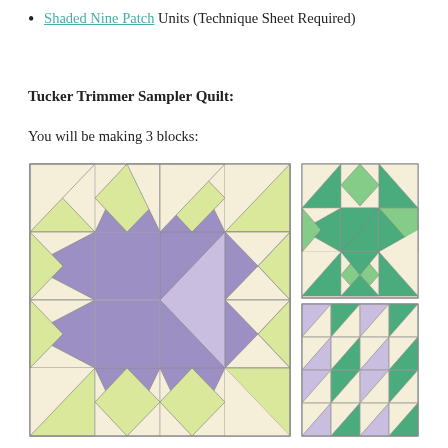Shaded Nine Patch Units (Technique Sheet Required)
Tucker Trimmer Sampler Quilt:
You will be making 3 blocks:
[Figure (illustration): Three quilt block illustrations: one large block (purple/lavender and green star pattern with light center) on the left, and two smaller blocks on the right (top: green star pattern; bottom: purple and green pinwheel/star pattern)]